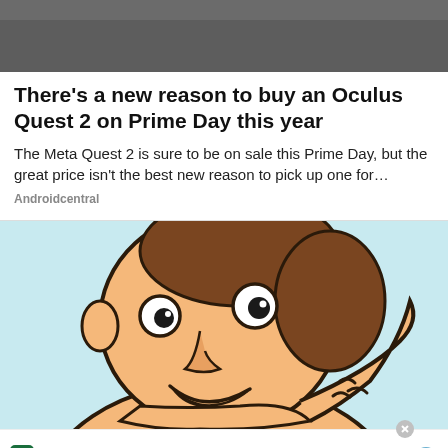[Figure (photo): Dark gray/charcoal background texture at the top of the page, partially cropped]
There's a new reason to buy an Oculus Quest 2 on Prime Day this year
The Meta Quest 2 is sure to be on sale this Prime Day, but the great price isn't the best new reason to pick up one for…
Androidcentral
[Figure (illustration): Cartoon illustration of a smiling person with brown hair on a light blue background, scratching their arm]
[Figure (other): Tally advertisement banner: green logo with 'tally' branding, 'Fast credit card payoff' tagline, and a 'Download Now' button with arrow]